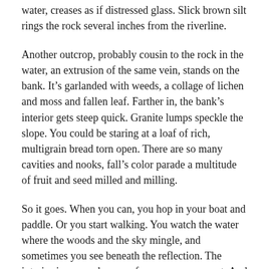water, creases as if distressed glass. Slick brown silt rings the rock several inches from the riverline.
Another outcrop, probably cousin to the rock in the water, an extrusion of the same vein, stands on the bank. It’s garlanded with weeds, a collage of lichen and moss and fallen leaf. Farther in, the bank’s interior gets steep quick. Granite lumps speckle the slope. You could be staring at a loaf of rich, multigrain bread torn open. There are so many cavities and nooks, fall’s color parade a multitude of fruit and seed milled and milling.
So it goes. When you can, you hop in your boat and paddle. Or you start walking. You watch the water where the woods and the sky mingle, and sometimes you see beneath the reflection. The interior is everywhere, surface or source or not. And so is the source everywhere. You are never lost, but you’re always getting lost. The whole outing might take an hour. You don’t think about it the rest of the day. It comes back to you all day. Things you don’t know you felt or saw, tasted or heard – they come back, they linger, they go.